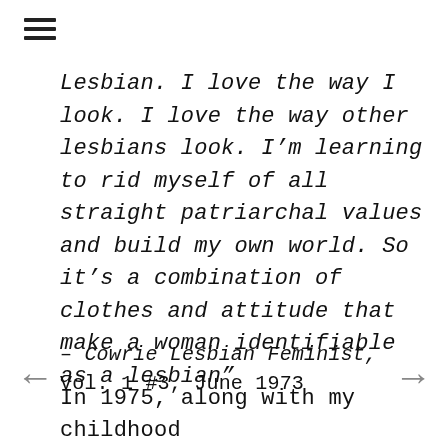[Figure (other): Hamburger menu icon (three horizontal lines)]
Lesbian. I love the way I look. I love the way other lesbians look. I'm learning to rid myself of all straight patriarchal values and build my own world. So it's a combination of clothes and attitude that make a woman identifiable as a lesbian"
– Cowrie Lesbian Feminist, Vol. 1 #3, June 1973
In 1975, along with my childhood